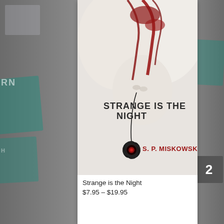[Figure (illustration): Book cover for 'Strange is the Night' by S.P. Miskowski. Shows a white/pale face tilted back with blood-red streaks, a black drooping flower on a thin stem, dark title text 'STRANGE IS THE NIGHT' and author name 'S. P. MISKOWSKI' in red.]
Strange is the Night
$7.95 – $19.95